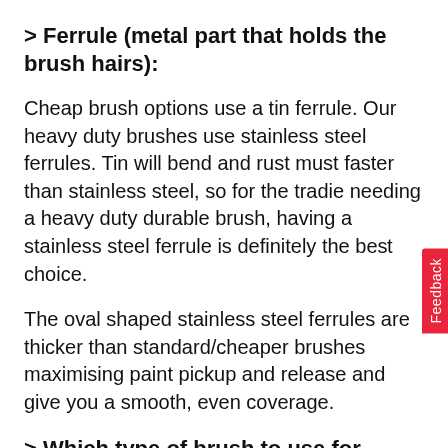> Ferrule (metal part that holds the brush hairs):
Cheap brush options use a tin ferrule. Our heavy duty brushes use stainless steel ferrules. Tin will bend and rust must faster than stainless steel, so for the tradie needing a heavy duty durable brush, having a stainless steel ferrule is definitely the best choice.
The oval shaped stainless steel ferrules are thicker than standard/cheaper brushes maximising paint pickup and release and give you a smooth, even coverage.
> Which type of brush to use for which application?